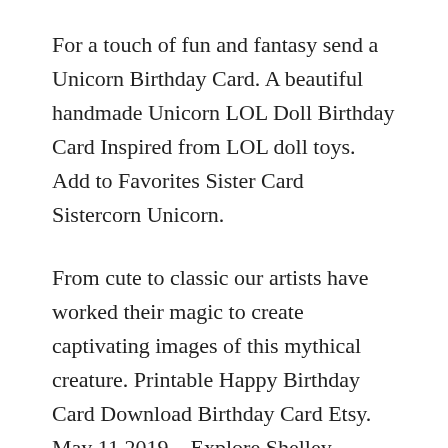For a touch of fun and fantasy send a Unicorn Birthday Card. A beautiful handmade Unicorn LOL Doll Birthday Card Inspired from LOL doll toys. Add to Favorites Sister Card Sistercorn Unicorn.
From cute to classic our artists have worked their magic to create captivating images of this mythical creature. Printable Happy Birthday Card Download Birthday Card Etsy. May 11 2019 – Explore Shelley Beanss board Unicorn Cards Handmade followed by 1865 people on Pinterest.